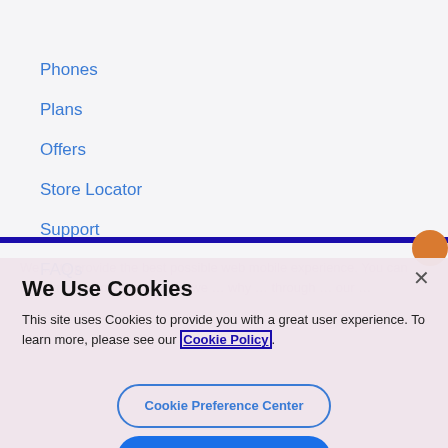Phones
Plans
Offers
Store Locator
Support
FAQs
We Use Cookies
This site uses Cookies to provide you with a great user experience. To learn more, please see our Cookie Policy.
Cookie Preference Center
Accept All Cookies